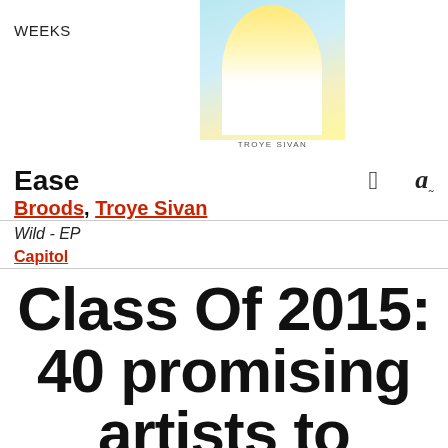WEEKS
[Figure (photo): Album art thumbnail for Troye Sivan's Wild EP, showing a person with glasses in yellow tones]
TROYE SIVAN
Ease
Broods, Troye Sivan
Wild - EP
Capitol
Class Of 2015: 40 promising artists to watch this year
Posted on January 14, 2015